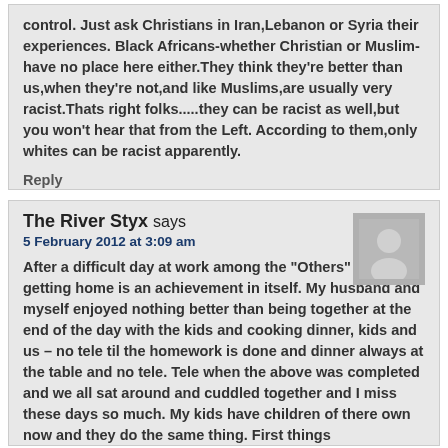control. Just ask Christians in Iran,Lebanon or Syria their experiences. Black Africans-whether Christian or Muslim-have no place here either.They think they're better than us,when they're not,and like Muslims,are usually very racist.Thats right folks.....they can be racist as well,but you won't hear that from the Left. According to them,only whites can be racist apparently.
Reply
The River Styx says
5 February 2012 at 3:09 am
After a difficult day at work among the "Others" just getting home is an achievement in itself. My husband and myself enjoyed nothing better than being together at the end of the day with the kids and cooking dinner, kids and us – no tele til the homework is done and dinner always at the table and no tele. Tele when the above was completed and we all sat around and cuddled together and I miss these days so much. My kids have children of there own now and they do the same thing. First things